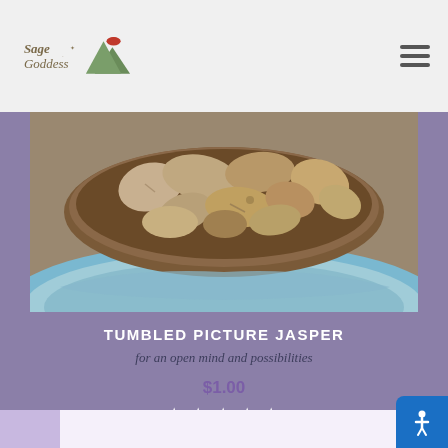Sage Goddess — navigation header with logo and hamburger menu
[Figure (photo): Tumbled picture jasper stones in a rustic bowl with blue geode surround]
TUMBLED PICTURE JASPER
for an open mind and possibilities
$1.00
★ ★ ★ ★ ★